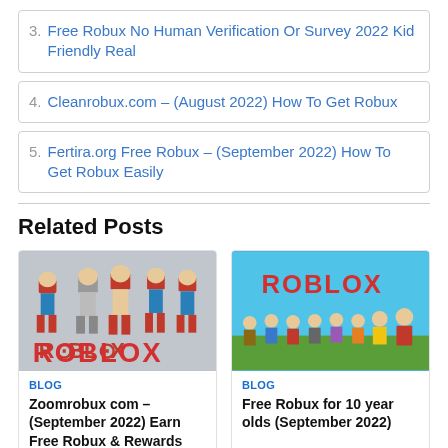3. Free Robux No Human Verification Or Survey 2022 Kid Friendly Real
4. Cleanrobux.com – (August 2022) How To Get Robux
5. Fertira.org Free Robux – (September 2022) How To Get Robux Easily
Related Posts
[Figure (photo): Roblox characters (blocky avatars in red and blue outfits) with ROBLOX logo text below on grey background]
BLOG
Zoomrobux com – (September 2022) Earn Free Robux & Rewards
[Figure (photo): Roblox characters lined up with ROBLOX logo on blue sky background]
BLOG
Free Robux for 10 year olds (September 2022)